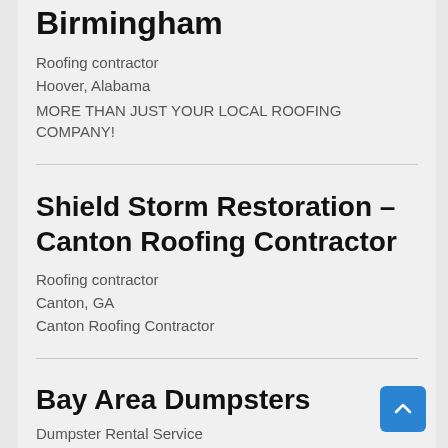Birmingham
Roofing contractor
Hoover, Alabama
MORE THAN JUST YOUR LOCAL ROOFING COMPANY!
Shield Storm Restoration – Canton Roofing Contractor
Roofing contractor
Canton, GA
Canton Roofing Contractor
Bay Area Dumpsters
Dumpster Rental Service